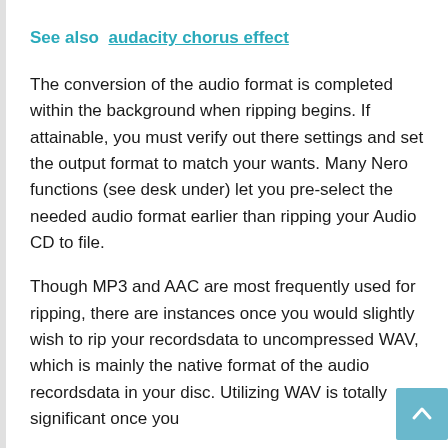See also  audacity chorus effect
The conversion of the audio format is completed within the background when ripping begins. If attainable, you must verify out there settings and set the output format to match your wants. Many Nero functions (see desk under) let you pre-select the needed audio format earlier than ripping your Audio CD to file.
Though MP3 and AAC are most frequently used for ripping, there are instances once you would slightly wish to rip your recordsdata to uncompressed WAV, which is mainly the native format of the audio recordsdata in your disc. Utilizing WAV is totally significant once you